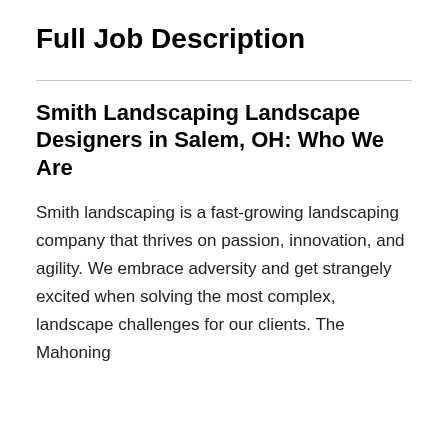Full Job Description
Smith Landscaping Landscape Designers in Salem, OH: Who We Are
Smith landscaping is a fast-growing landscaping company that thrives on passion, innovation, and agility. We embrace adversity and get strangely excited when solving the most complex, landscape challenges for our clients. The Mahoning